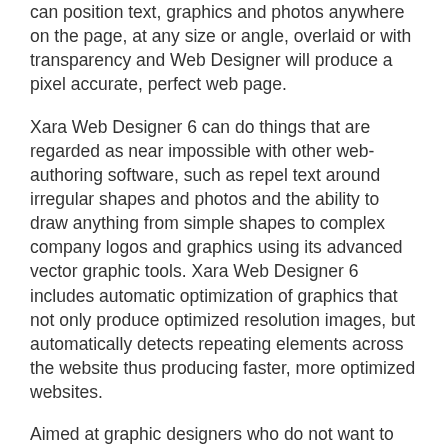can position text, graphics and photos anywhere on the page, at any size or angle, overlaid or with transparency and Web Designer will produce a pixel accurate, perfect web page.
Xara Web Designer 6 can do things that are regarded as near impossible with other web-authoring software, such as repel text around irregular shapes and photos and the ability to draw anything from simple shapes to complex company logos and graphics using its advanced vector graphic tools. Xara Web Designer 6 includes automatic optimization of graphics that not only produce optimized resolution images, but automatically detects repeating elements across the website thus producing faster, more optimized websites.
Aimed at graphic designers who do not want to learn HTML or scripting languages, it's also the perfect 'rapid website prototyping' tool for graphic designers and webmasters. The simplicity of Xara Web Designer means that even the beginner can create professional looking websites with ease.
"Xara Web Designer 6 provides no programming tools, no script editing and doesn't even provide an 'HTML view'", says Managing Director, Charles Moir, "Our design philosophy is